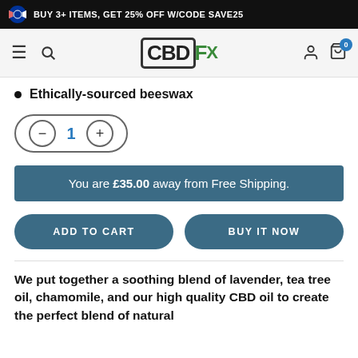BUY 3+ ITEMS, GET 25% OFF W/CODE SAVE25
[Figure (logo): CBDfx logo with green Rx lettering in navigation bar]
Ethically-sourced beeswax
1 (quantity selector with minus and plus buttons)
You are £35.00 away from Free Shipping.
ADD TO CART
BUY IT NOW
We put together a soothing blend of lavender, tea tree oil, chamomile, and our high quality CBD oil to create the perfect blend of natural